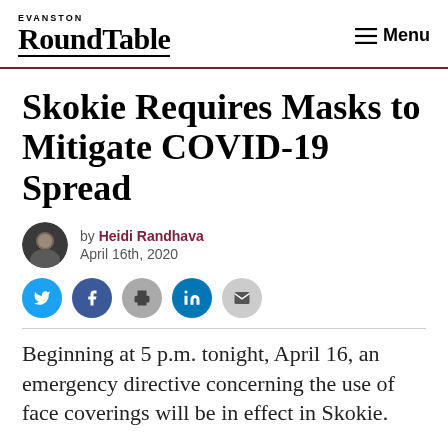EVANSTON RoundTable — Menu
Skokie Requires Masks to Mitigate COVID-19 Spread
by Heidi Randhava
April 16th, 2020
Beginning at 5 p.m. tonight, April 16, an emergency directive concerning the use of face coverings will be in effect in Skokie.